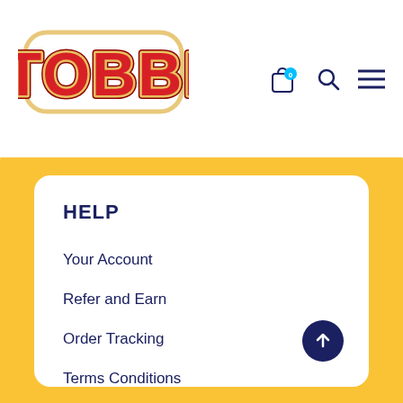[Figure (logo): TOBBI logo in red bubble letters with yellow outline on white background]
HELP
Your Account
Refer and Earn
Order Tracking
Terms Conditions
Return and Refunds
Privacy Policy